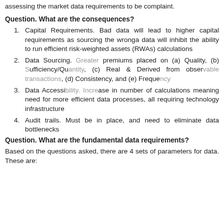assessing the market data requirements to be complaint.
Question. What are the consequences?
Capital Requirements. Bad data will lead to higher capital requirements as sourcing the wronga data will inhibit the ability to run efficient risk-weighted assets (RWAs) calculations
Data Sourcing. Greater premiums placed on (a) Quality, (b) Sufficiency/Quantity, (c) Real & Derived from observable transactions, (d) Consistency, and (e) Frequency
Data Accessibility. Increase in number of calculations meaning need for more efficient data processes, all requiring technology infrastructure
Audit trails. Must be in place, and need to eliminate data bottlenecks
Question. What are the fundamental data requirements?
Based on the questions asked, there are 4 sets of parameters for data. These are: